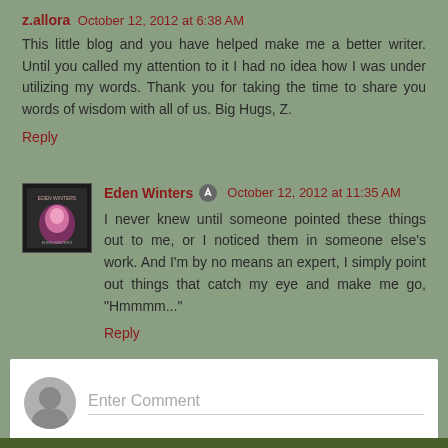z.allora  October 12, 2012 at 6:38 AM
This little blog and you have helped make me a better writer. Until you called my attention to it I had no idea how I was under utilizing my words. Thank you for taking the time to share you words of wisdom with all of us. Big Hugs, Z.
Reply
Eden Winters  October 12, 2012 at 11:35 AM
I never knew until someone pointed these things out to me, or I noticed them in someone else's work. And I'm by no means an expert, I simply point out things that catch my eye and make me go, "Hmmmm..."
Reply
Enter Comment